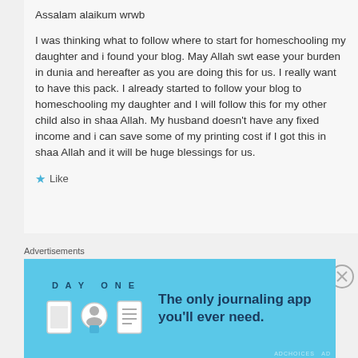Assalam alaikum wrwb
I was thinking what to follow where to start for homeschooling my daughter and i found your blog. May Allah swt ease your burden in dunia and hereafter as you are doing this for us. I really want to have this pack. I already started to follow your blog to homeschooling my daughter and I will follow this for my other child also in shaa Allah. My husband doesn’t have any fixed income and i can save some of my printing cost if I got this in shaa Allah and it will be huge blessings for us.
Like
Advertisements
[Figure (screenshot): Advertisement banner for DAY ONE journaling app on a blue background with icons and text: The only journaling app you'll ever need.]